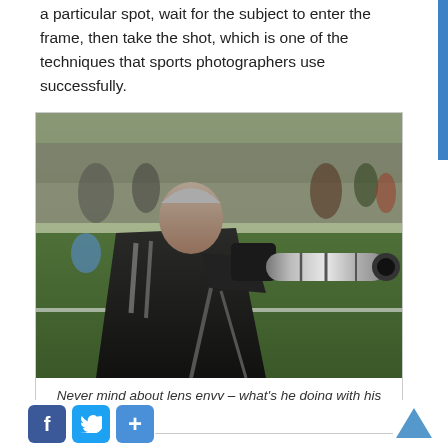a particular spot, wait for the subject to enter the frame, then take the shot, which is one of the techniques that sports photographers use successfully.
[Figure (photo): A sports photographer holding a large telephoto lens camera at a sports field, with crowd in the background.]
Never mind about lens envy – what's he doing with his right thumb?
Facebook Twitter +